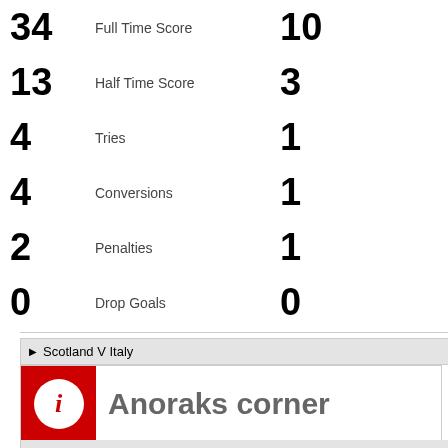|  | Category |  |
| --- | --- | --- |
| 34 | Full Time Score | 10 |
| 13 | Half Time Score | 3 |
| 4 | Tries | 1 |
| 4 | Conversions | 1 |
| 2 | Penalties | 1 |
| 0 | Drop Goals | 0 |
| mins | sco |
| --- | --- |
| 28 | Tim Viss… |
| 42 | Matt Sco… |
| 69 | Sean Lan… |
| 47 | Stuart Ho… |
| 30, 44, 48, 70 | Greig La… |
| 15, 24 | Greig La… |
▶ Scoring Italy
| mins | sco |
| --- | --- |
| 74 | Alessand… |
| 75 | Kristophe… |
| 39 | Luciano O… |
▶ Scotland V Italy
[Figure (logo): Red square with white circle containing italic i — Anoraks corner logo]
Anoraks corner
Statistics for Scotland V Italy
Match officials
Referee:
Bremer Jaco (South Africa)